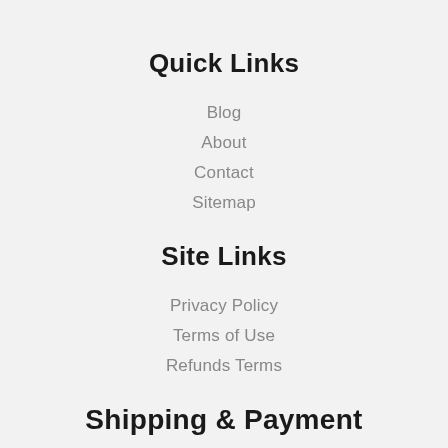Quick Links
Blog
About
Contact
Sitemap
Site Links
Privacy Policy
Terms of Use
Refunds Terms
Shipping & Payment
Shipping Info
Payment Method